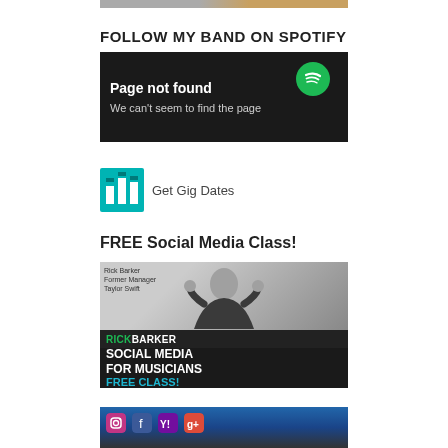[Figure (photo): Partial top image strip]
FOLLOW MY BAND ON SPOTIFY
[Figure (screenshot): Spotify page not found error screen with Spotify logo]
[Figure (logo): Bandsintown logo with Get Gig Dates text]
FREE Social Media Class!
[Figure (photo): Rick Barker Social Media for Musicians Free Class promotional image]
[Figure (photo): Social media icons background photo]